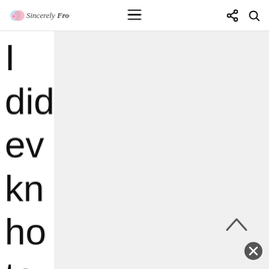Sincerely Fro — navigation bar with logo, menu, share, and search icons
I did every know how to say it right and I could figure out the dif